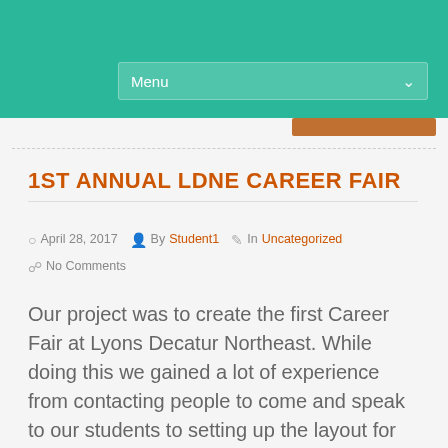Menu
1ST ANNUAL LDNE CAREER FAIR
April 28, 2017  By Student1  In Uncategorized  No Comments
Our project was to create the first Career Fair at Lyons Decatur Northeast. While doing this we gained a lot of experience from contacting people to come and speak to our students to setting up the layout for this large event. We